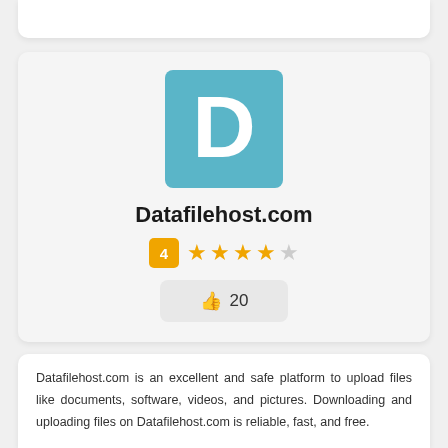[Figure (logo): Datafilehost.com logo: teal/blue square with white letter D]
Datafilehost.com
4 ★★★★☆ 👍 20
Datafilehost.com is an excellent and safe platform to upload files like documents, software, videos, and pictures. Downloading and uploading files on Datafilehost.com is reliable, fast, and free.